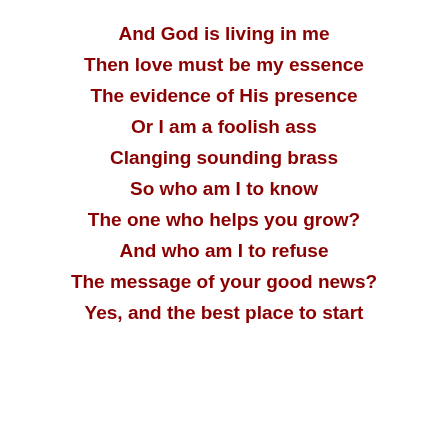And God is living in me
Then love must be my essence
The evidence of His presence
Or I am a foolish ass
Clanging sounding brass
So who am I to know
The one who helps you grow?
And who am I to refuse
The message of your good news?
Yes, and the best place to start